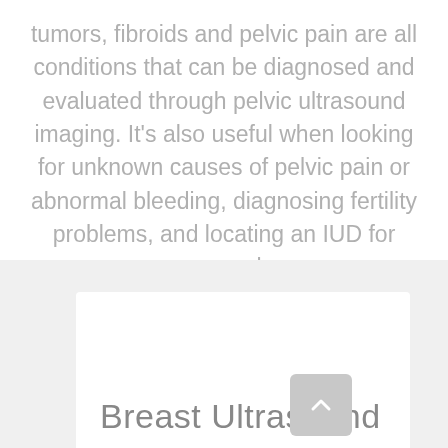tumors, fibroids and pelvic pain are all conditions that can be diagnosed and evaluated through pelvic ultrasound imaging. It's also useful when looking for unknown causes of pelvic pain or abnormal bleeding, diagnosing fertility problems, and locating an IUD for removal.
Breast Ultrasound